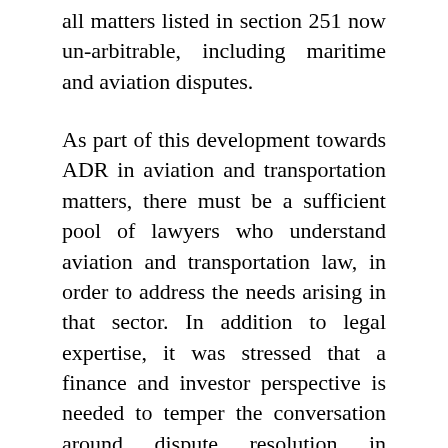all matters listed in section 251 now un-arbitrable, including maritime and aviation disputes.
As part of this development towards ADR in aviation and transportation matters, there must be a sufficient pool of lawyers who understand aviation and transportation law, in order to address the needs arising in that sector. In addition to legal expertise, it was stressed that a finance and investor perspective is needed to temper the conversation around dispute resolution in complex commercial transactions such as transportation infrastructure projects. Transportation and aviation contracts and projects are capital intensive, and it takes a great deal of time, expertise and effort to conceive and deliver them. Although Nigeria's foreign trade is dominated by foreigners, because of the prevailing import dependency, Nigerians should